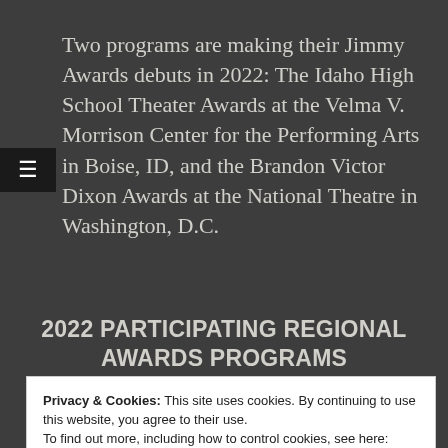Two programs are making their Jimmy Awards debuts in 2022: The Idaho High School Theater Awards at the Velma V. Morrison Center for the Performing Arts in Boise, ID, and the Brandon Victor Dixon Awards at the National Theatre in Washington, D.C.
2022 PARTICIPATING REGIONAL AWARDS PROGRAMS
Privacy & Cookies: This site uses cookies. By continuing to use this website, you agree to their use.
To find out more, including how to control cookies, see here: Cookie Policy
Appleton, WI: Center Stage High School Musical Theater Program
Atlanta, GA: Georgia High School Musical Theatre